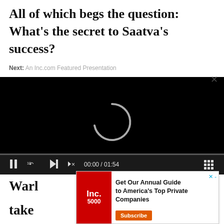All of which begs the question: What's the secret to Saatva's success?
Next: An Inc.com Featured Presentation
[Figure (screenshot): Embedded video player with black background showing a loading spinner, progress bar at bottom, and playback controls including pause, replay 10, skip, mute, time display (00:00 / 01:54), and grid icon.]
Warl
take
[Figure (screenshot): Advertisement banner for Inc.com Annual Guide to America's Top Private Companies with Subscribe button and close X.]